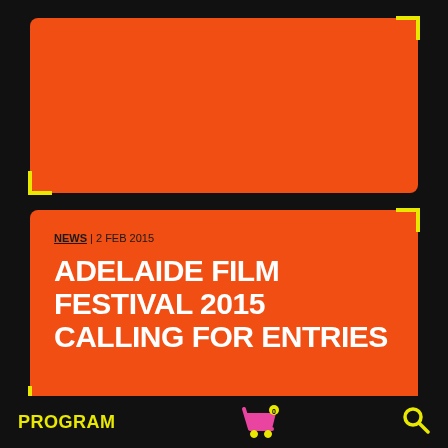[Figure (illustration): Orange card/panel at top with yellow corner brackets (camera viewfinder style), black background]
NEWS | 2 FEB 2015
ADELAIDE FILM FESTIVAL 2015 CALLING FOR ENTRIES
[Figure (illustration): Orange card with yellow corner brackets (camera viewfinder style)]
PROGRAM